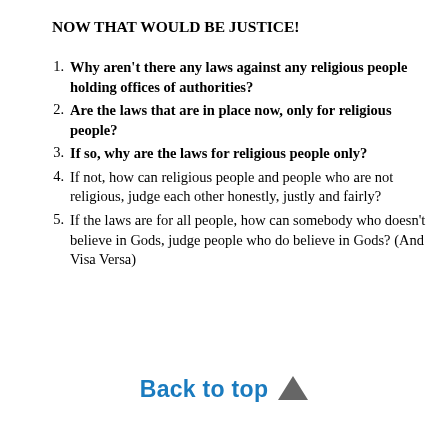NOW THAT WOULD BE JUSTICE!
Why aren't there any laws against any religious people holding offices of authorities?
Are the laws that are in place now, only for religious people?
If so, why are the laws for religious people only?
If not, how can religious people and people who are not religious, judge each other honestly, justly and fairly?
If the laws are for all people, how can somebody who doesn't believe in Gods, judge people who do believe in Gods? (And Visa Versa)